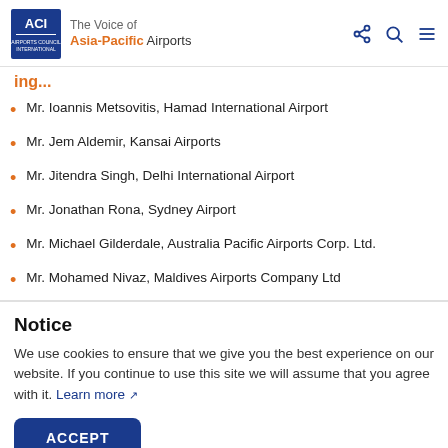The Voice of Asia-Pacific Airports
Mr. Ioannis Metsovitis, Hamad International Airport
Mr. Jem Aldemir, Kansai Airports
Mr. Jitendra Singh, Delhi International Airport
Mr. Jonathan Rona, Sydney Airport
Mr. Michael Gilderdale, Australia Pacific Airports Corp. Ltd.
Mr. Mohamed Nivaz, Maldives Airports Company Ltd
Notice
We use cookies to ensure that we give you the best experience on our website. If you continue to use this site we will assume that you agree with it. Learn more